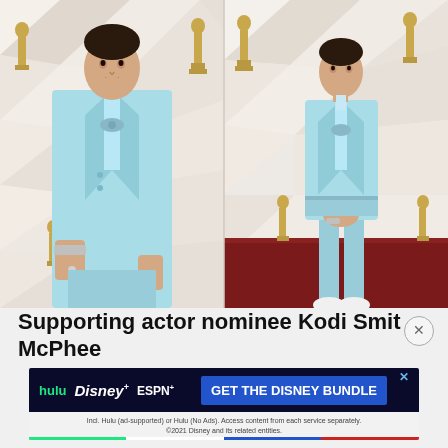[Figure (photo): Two side-by-side photos of supporting actor nominee Kodi Smit-McPhee at the Oscars red carpet, wearing a light blue double-breasted suit with matching trousers and white shoes. Left photo is a closer crop, right photo shows full-body shot on red carpet with Oscar statues visible in background.]
Supporting actor nominee Kodi Smit McPhee
[Figure (other): Disney Bundle advertisement banner featuring Hulu, Disney+, and ESPN+ logos with 'GET THE DISNEY BUNDLE' call to action button. Fine print reads: Incl. Hulu (ad-supported) or Hulu (No Ads). Access content from each service separately. ©2021 Disney and its related entities.]